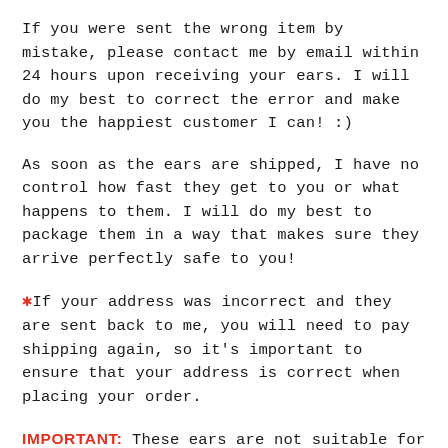If you were sent the wrong item by mistake, please contact me by email within 24 hours upon receiving your ears. I will do my best to correct the error and make you the happiest customer I can! :)
As soon as the ears are shipped, I have no control how fast they get to you or what happens to them. I will do my best to package them in a way that makes sure they arrive perfectly safe to you!
*If your address was incorrect and they are sent back to me, you will need to pay shipping again, so it's important to ensure that your address is correct when placing your order.
IMPORTANT: These ears are not suitable for extreme